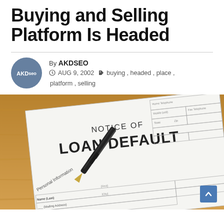Buying and Selling Platform Is Headed
By AKDSEO
AUG 9, 2002 | buying, headed, place, platform, selling
[Figure (photo): Photo of a Notice of Loan Default form on a wooden table with a pen resting on it. The form shows 'NOTICE OF LOAN DEFAULT' in large text with Personal Information fields visible at the bottom including Name (Last), Mailing Address, First, City fields.]